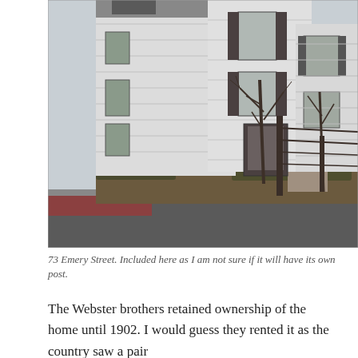[Figure (photo): Exterior photograph of a white multi-story house at 73 Emery Street. The building has dark shutters, bare trees and shrubs in front, a fence, and a sidewalk visible at street level. Adjacent buildings are partially visible on either side.]
73 Emery Street. Included here as I am not sure if it will have its own post.
The Webster brothers retained ownership of the home until 1902. I would guess they rented it as the country saw a pair